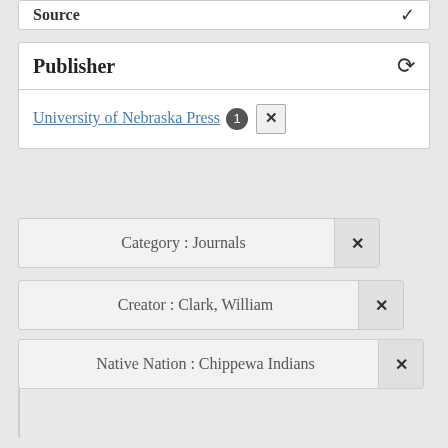Source
Publisher
University of Nebraska Press 1 ✕
Category : Journals ✕
Creator : Clark, William ✕
Native Nation : Chippewa Indians ✕
Place : Spain ✕
State : SD ✕
Publisher : University of Nebraska Press ✕